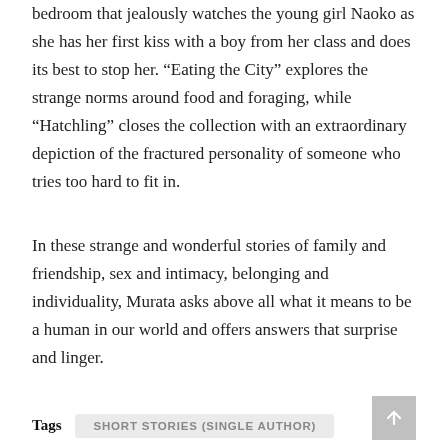bedroom that jealously watches the young girl Naoko as she has her first kiss with a boy from her class and does its best to stop her. “Eating the City” explores the strange norms around food and foraging, while “Hatchling” closes the collection with an extraordinary depiction of the fractured personality of someone who tries too hard to fit in.
In these strange and wonderful stories of family and friendship, sex and intimacy, belonging and individuality, Murata asks above all what it means to be a human in our world and offers answers that surprise and linger.
Tags  SHORT STORIES (SINGLE AUTHOR)